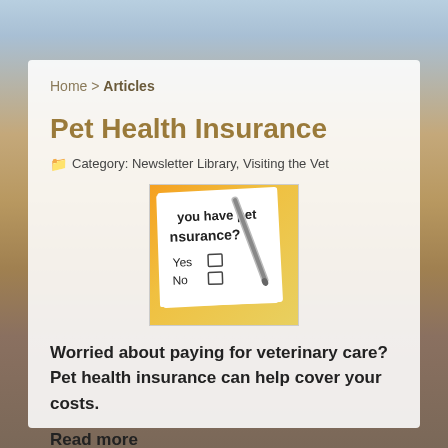Home > Articles
Pet Health Insurance
Category: Newsletter Library, Visiting the Vet
[Figure (photo): A pet insurance form/questionnaire with checkboxes for Yes and No, asking 'Do you have pet insurance?' with a pen resting on it. Orange/yellow colored form.]
Worried about paying for veterinary care? Pet health insurance can help cover your costs.
Read more